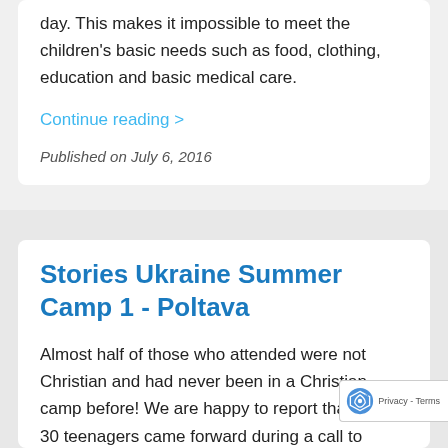day. This makes it impossible to meet the children's basic needs such as food, clothing, education and basic medical care.
Continue reading >
Published on July 6, 2016
Stories Ukraine Summer Camp 1 - Poltava
Almost half of those who attended were not Christian and had never been in a Christian camp before! We are happy to report that about 30 teenagers came forward during a call to repentance one evening to pray! Many of them were crying and testifying to feeling God's presence as they were being convicted and drawn to